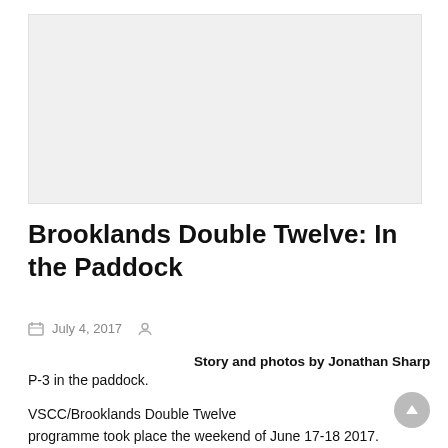[Figure (photo): Large blank/white image placeholder at the top of the article page]
Brooklands Double Twelve: In the Paddock
July 4, 2017
Story and photos by Jonathan Sharp
P-3 in the paddock.
VSCC/Brooklands Double Twelve programme took place the weekend of June 17-18 2017.